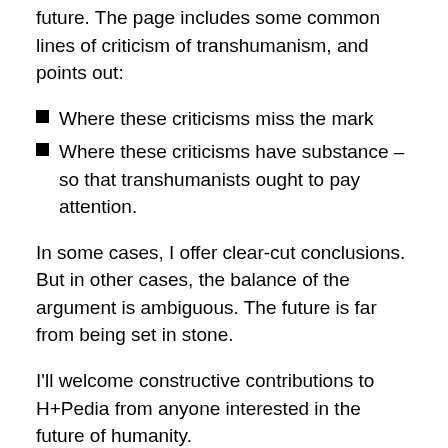future. The page includes some common lines of criticism of transhumanism, and points out:
Where these criticisms miss the mark
Where these criticisms have substance – so that transhumanists ought to pay attention.
In some cases, I offer clear-cut conclusions. But in other cases, the balance of the argument is ambiguous. The future is far from being set in stone.
I'll welcome constructive contributions to H+Pedia from anyone interested in the future of humanity.
Second postscript:
It's now less than three weeks to the Anticipating 2040 event, where many speakers will be touching on the